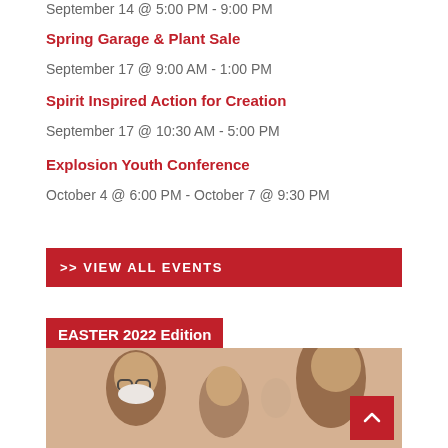September 14 @ 5:00 PM - 9:00 PM
Spring Garage & Plant Sale
September 17 @ 9:00 AM - 1:00 PM
Spirit Inspired Action for Creation
September 17 @ 10:30 AM - 5:00 PM
Explosion Youth Conference
October 4 @ 6:00 PM - October 7 @ 9:30 PM
>> VIEW ALL EVENTS
EASTER 2022 Edition
[Figure (photo): People wearing masks bowing their heads, likely in prayer]